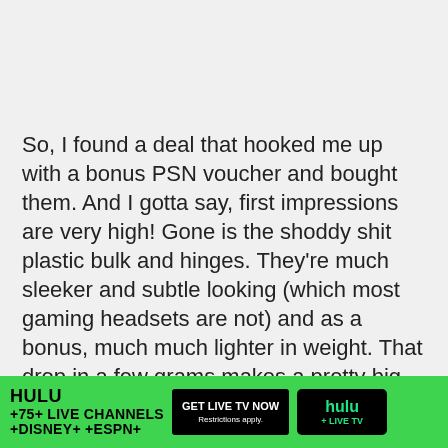So, I found a deal that hooked me up with a bonus PSN voucher and bought them. And I gotta say, first impressions are very high! Gone is the shoddy shit plastic bulk and hinges. They're much sleeker and subtle looking (which most gaming headsets are not) and as a bonus, much much lighter in weight. That drop in a few grams makes a pretty big difference in comfort.
The ear cups are still made from pleather, but it feels li... will sta...
[Figure (other): Hulu advertisement banner: green background with text 'HULU +75+ LIVE CHANNELS +DISNEY+ +ESPN+', a black button 'GET LIVE TV NOW / Restrictions apply.', and a Hulu + LIVE TV logo on black background.]